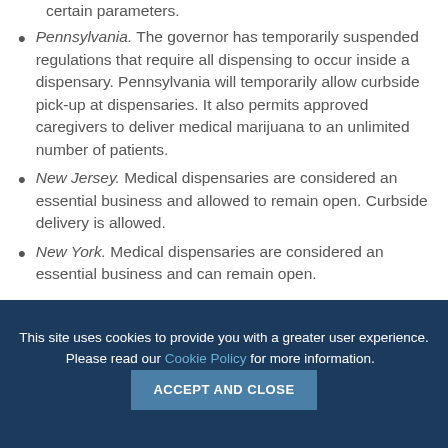certain parameters.
Pennsylvania. The governor has temporarily suspended regulations that require all dispensing to occur inside a dispensary. Pennsylvania will temporarily allow curbside pick-up at dispensaries. It also permits approved caregivers to deliver medical marijuana to an unlimited number of patients.
New Jersey. Medical dispensaries are considered an essential business and allowed to remain open. Curbside delivery is allowed.
New York. Medical dispensaries are considered an essential business and can remain open.
This site uses cookies to provide you with a greater user experience. Please read our Cookie Policy for more information.